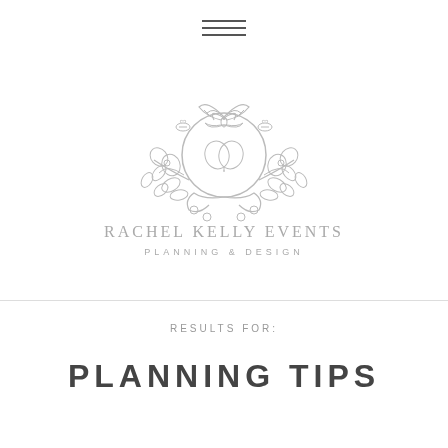[Figure (logo): Rachel Kelly Events Planning & Design logo with botanical illustration featuring butterfly, pansies, bees, and foliage in grey engraving style]
RESULTS FOR:
PLANNING TIPS